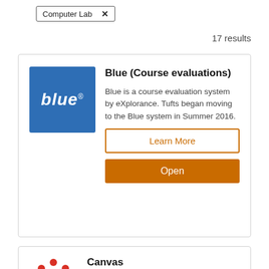Computer Lab ×
17 results
[Figure (screenshot): Blue course evaluations app card with blue logo, title, description, Learn More and Open buttons]
Blue (Course evaluations)
Blue is a course evaluation system by eXplorance. Tufts began moving to the Blue system in Summer 2016.
Learn More
Open
[Figure (logo): Canvas logo - red dotted circular logo with text canvas below]
Canvas
Learning management system